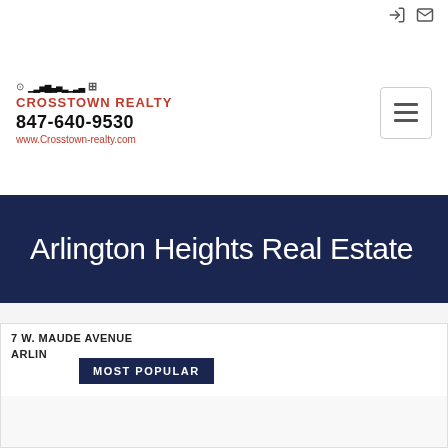Crosstown Realty | 847-640-9530 | www.Crosstown-realty.com
Arlington Heights Real Estate
7 W. MAUDE AVENUE ARLINGTON
MOST POPULAR
[Figure (illustration): Architectural line drawing / blueprint elevation of a craftsman-style house with peaked roofs, garage, and front porch details]